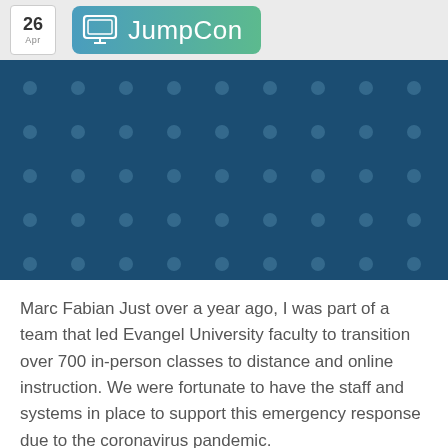26 Apr — JumpCon logo
[Figure (illustration): Blue dotted-pattern banner image with dark teal/blue background and lighter circular dot pattern]
Marc Fabian Just over a year ago, I was part of a team that led Evangel University faculty to transition over 700 in-person classes to distance and online instruction. We were fortunate to have the staff and systems in place to support this emergency response due to the coronavirus pandemic.